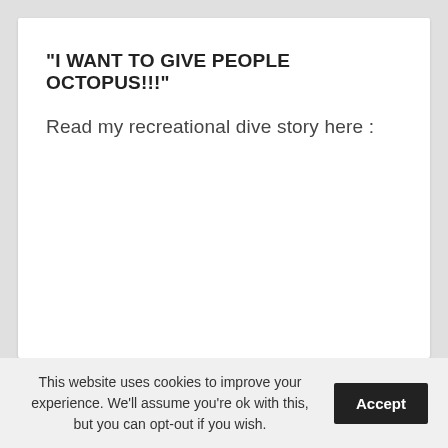“I WANT TO GIVE PEOPLE OCTOPUS!!!”
Read my recreational dive story here :
This website uses cookies to improve your experience. We’ll assume you’re ok with this, but you can opt-out if you wish.